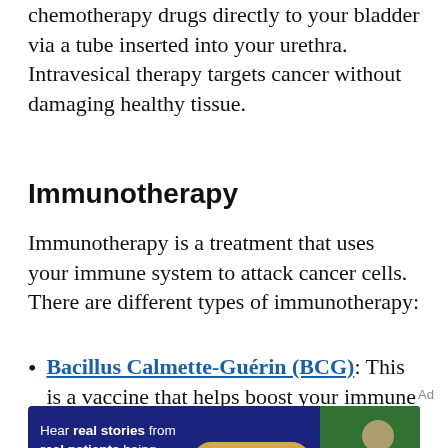chemotherapy drugs directly to your bladder via a tube inserted into your urethra. Intravesical therapy targets cancer without damaging healthy tissue.
Immunotherapy
Immunotherapy is a treatment that uses your immune system to attack cancer cells. There are different types of immunotherapy:
Bacillus Calmette-Guérin (BCG): This is a vaccine that helps boost your immune
[Figure (infographic): Advertisement banner with dark blue background. Text reads: 'Hear real stories from real patients being treated for advanced bladder cancer'. Yellow 'Learn more >' button. Photo of a man on the right side. Small text: C81-O645-PM 11/21.]